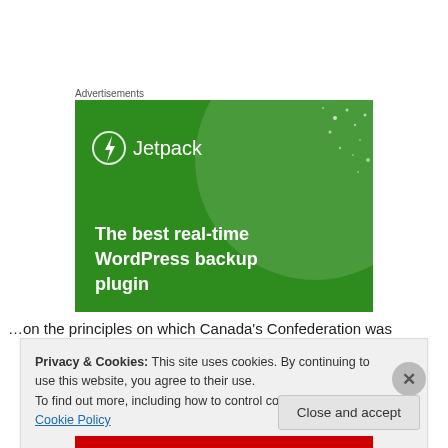Advertisements
[Figure (illustration): Jetpack advertisement banner on green background showing the Jetpack logo (lightning bolt icon in circle) and text 'The best real-time WordPress backup plugin']
…on the principles on which Canada's Confederation was
Privacy & Cookies: This site uses cookies. By continuing to use this website, you agree to their use.
To find out more, including how to control cookies, see here: Cookie Policy
Close and accept